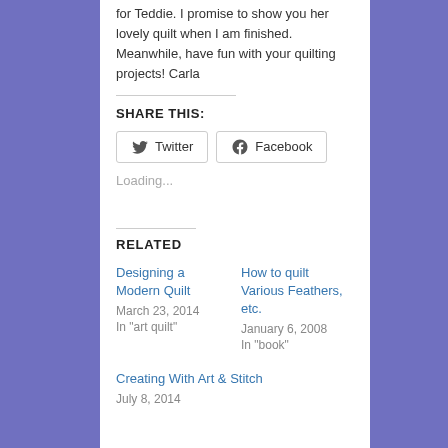for Teddie.  I promise to show you her lovely quilt when I am finished.  Meanwhile, have fun with your quilting projects!  Carla
SHARE THIS:
Loading...
RELATED
Designing a Modern Quilt
March 23, 2014
In "art quilt"
How to quilt Various Feathers, etc.
January 6, 2008
In "book"
Creating With Art & Stitch
July 8, 2014